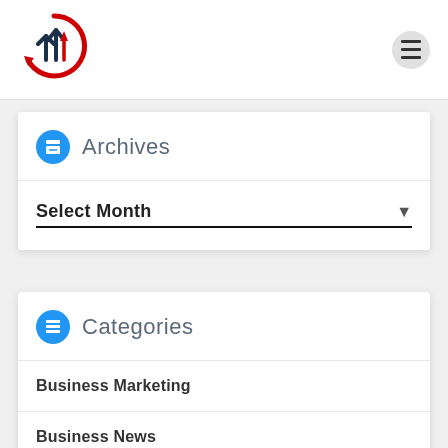[Figure (logo): Business/finance logo with two upward arrows (one dark navy, one red) inside a red and navy circular arrow design]
Archives
Select Month
Categories
Business Marketing
Business News